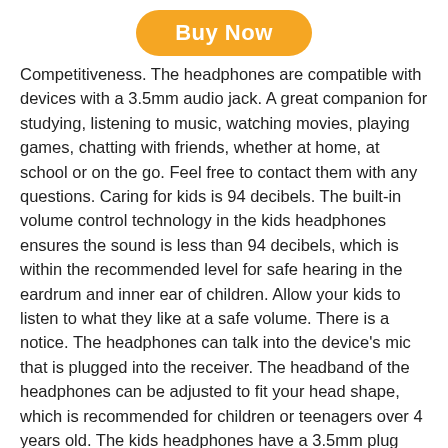[Figure (other): Orange 'Buy Now' button with rounded corners at the top center of the page]
Competitiveness. The headphones are compatible with devices with a 3.5mm audio jack. A great companion for studying, listening to music, watching movies, playing games, chatting with friends, whether at home, at school or on the go. Feel free to contact them with any questions. Caring for kids is 94 decibels. The built-in volume control technology in the kids headphones ensures the sound is less than 94 decibels, which is within the recommended level for safe hearing in the eardrum and inner ear of children. Allow your kids to listen to what they like at a safe volume. There is a notice. The headphones can talk into the device's mic that is plugged into the receiver. The headband of the headphones can be adjusted to fit your head shape, which is recommended for children or teenagers over 4 years old. The kids headphones have a 3.5mm plug that gives your kids more room to play. BUILT FOR COMFORTABILITY The ear pads are lightweight and provide lasting comfort. It's suitable for work, play, travel and study. The girls headphones are a great present for children who enjoy music, playing games or watching TV. Kids can easily carry and store their pink